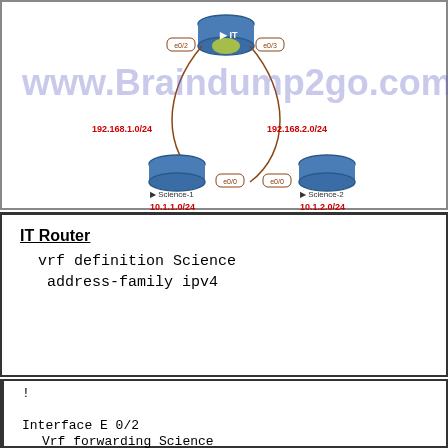[Figure (network-graph): Network topology diagram showing an IT router at the top center connected to two Science routers (Science-1 and Science-2) at the bottom left and right. Interfaces e0/2 and e0/3 connect the IT router to the Science routers. IP networks: 192.168.1.0/24 on the left, 192.168.2.0/24 on the right, 10.1.1.0/24 under Science-1, 10.1.2.0/24 under Science-2. Watermark: www.Braindump2go.com]
IT Router
vrf definition Science
 address-family ipv4
!

Interface E 0/2
  Vrf forwarding Science
  Ip address 192.168.1.1 255.255.255.0
  No shut
!